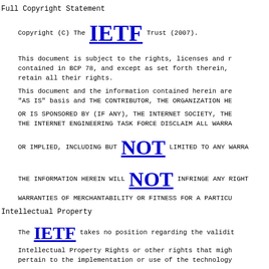Full Copyright Statement
Copyright (C) The IETF Trust (2007).
This document is subject to the rights, licenses and r contained in BCP 78, and except as set forth therein, retain all their rights.
This document and the information contained herein are "AS IS" basis and THE CONTRIBUTOR, THE ORGANIZATION HE
OR IS SPONSORED BY (IF ANY), THE INTERNET SOCIETY, THE THE INTERNET ENGINEERING TASK FORCE DISCLAIM ALL WARRA
OR IMPLIED, INCLUDING BUT NOT LIMITED TO ANY WARRA
THE INFORMATION HEREIN WILL NOT INFRINGE ANY RIGHT WARRANTIES OF MERCHANTABILITY OR FITNESS FOR A PARTICU
Intellectual Property
The IETF takes no position regarding the validit Intellectual Property Rights or other rights that migh pertain to the implementation or use of the technology